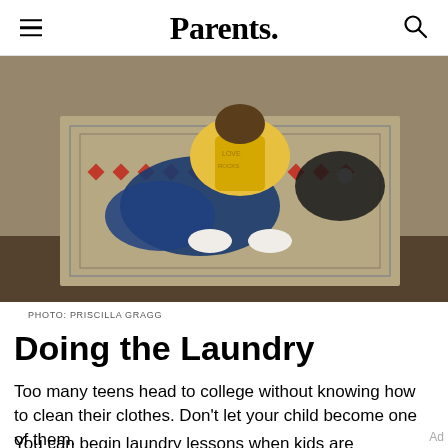Parents.
[Figure (photo): Overhead view of a child lying on a patterned rug surrounded by laundry items including a blue jacket and colorful clothing]
PHOTO: PRISCILLA GRAGG
Doing the Laundry
Too many teens head to college without knowing how to clean their clothes. Don't let your child become one of them.
You can begin laundry lessons when kids are